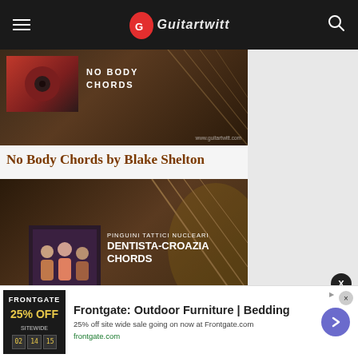GuitarTwitt navigation bar
[Figure (photo): No Body Chords thumbnail image with guitar background and inset album art]
No Body Chords by Blake Shelton
[Figure (photo): Dentista-Croazia Chords by Pinguini Tattici Nucleari thumbnail with guitar background and band photo inset]
[Figure (screenshot): Popup overlay showing No Body Chords by Blake thumbnail]
[Figure (photo): Advertisement banner: Frontgate Outdoor Furniture Bedding, 25% off sitewide sale at Frontgate.com]